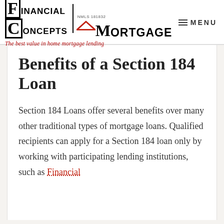[Figure (logo): Financial Concepts Mortgage logo with house/roof icon and NMLS 181832 number]
≡ MENU
The best value in home mortgage lending
Benefits of a Section 184 Loan
Section 184 Loans offer several benefits over many other traditional types of mortgage loans. Qualified recipients can apply for a Section 184 loan only by working with participating lending institutions, such as Financial